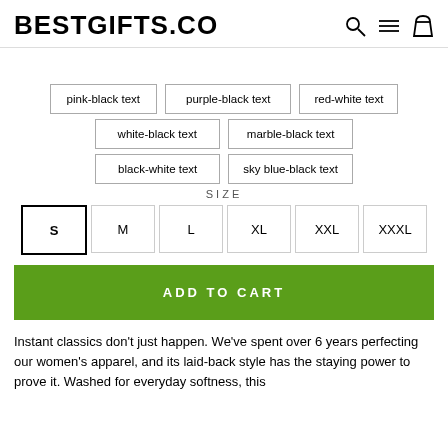BESTGIFTS.CO
pink-black text
purple-black text
red-white text
white-black text
marble-black text
black-white text
sky blue-black text
SIZE
S
M
L
XL
XXL
XXXL
ADD TO CART
Instant classics don't just happen. We've spent over 6 years perfecting our women's apparel, and its laid-back style has the staying power to prove it. Washed for everyday softness, this